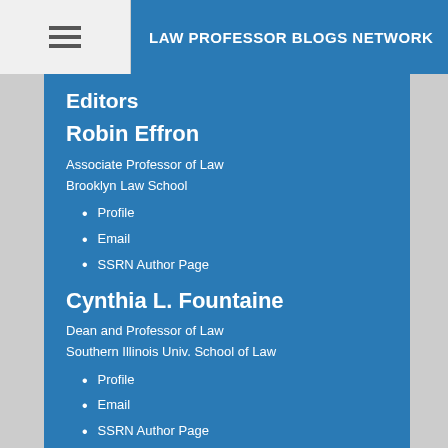LAW PROFESSOR BLOGS NETWORK
Editors
Robin Effron
Associate Professor of Law
Brooklyn Law School
Profile
Email
SSRN Author Page
Cynthia L. Fountaine
Dean and Professor of Law
Southern Illinois Univ. School of Law
Profile
Email
SSRN Author Page
Patricia Hatamyar Moore